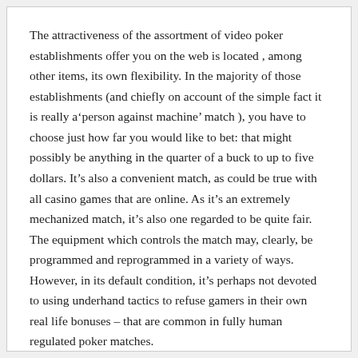The attractiveness of the assortment of video poker establishments offer you on the web is located , among other items, its own flexibility. In the majority of those establishments (and chiefly on account of the simple fact it is really a‘person against machine’ match ), you have to choose just how far you would like to bet: that might possibly be anything in the quarter of a buck to up to five dollars. It’s also a convenient match, as could be true with all casino games that are online. As it’s an extremely mechanized match, it’s also one regarded to be quite fair. The equipment which controls the match may, clearly, be programmed and reprogrammed in a variety of ways. However, in its default condition, it’s perhaps not devoted to using underhand tactics to refuse gamers in their own real life bonuses – that are common in fully human regulated poker matches.